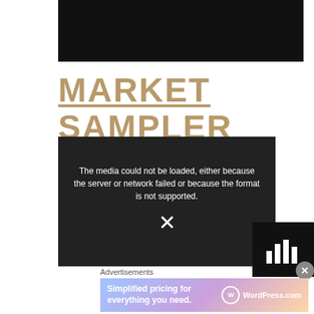[Figure (screenshot): Black banner image at top of page]
MARKET SAMPLER
[Figure (screenshot): Video player showing error message: 'The media could not be loaded, either because the server or network failed or because the format is not supported.' with an X mark in the center]
[Figure (screenshot): Small dark thumbnail in bottom right with a bar chart icon]
Advertisements
[Figure (screenshot): Advertisement banner: 'Simplified pricing for everything you need.' WordPress.com logo on right]